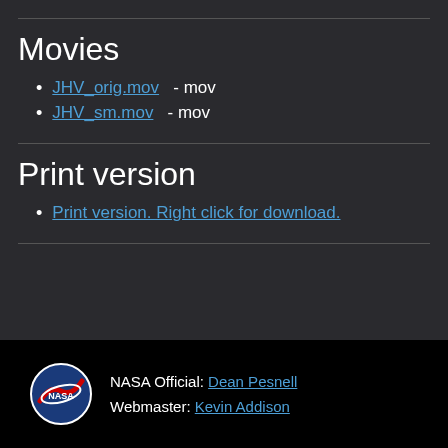Movies
JHV_orig.mov  - mov
JHV_sm.mov  - mov
Print version
Print version. Right click for download.
NASA Official: Dean Pesnell  Webmaster: Kevin Addison